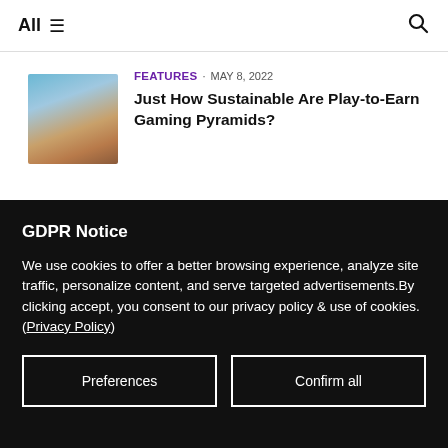All ≡ 🔍
[Figure (photo): Blurred thumbnail image showing a blue sky and sandy/rocky terrain]
FEATURES · MAY 8, 2022
Just How Sustainable Are Play-to-Earn Gaming Pyramids?
GDPR Notice
We use cookies to offer a better browsing experience, analyze site traffic, personalize content, and serve targeted advertisements.By clicking accept, you consent to our privacy policy & use of cookies. (Privacy Policy)
Preferences
Confirm all